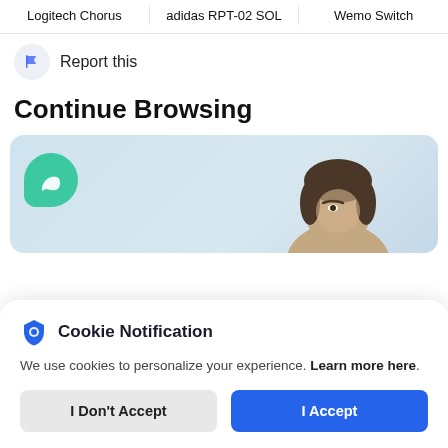Logitech Chorus | adidas RPT-02 SOL | Wemo Switch
Report this
Continue Browsing
[Figure (screenshot): App card with teal leaf/chat bubble logo and partial person image on a light blue background]
Cookie Notification
We use cookies to personalize your experience. Learn more here.
I Don't Accept | I Accept